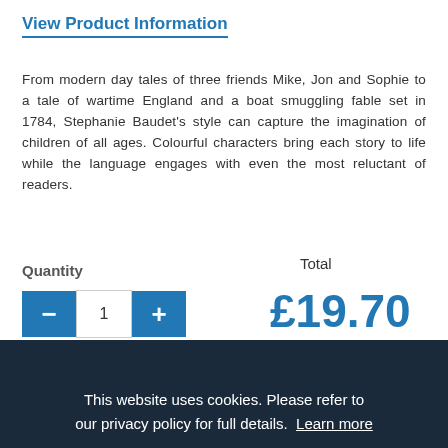View Product Information
From modern day tales of three friends Mike, Jon and Sophie to a tale of wartime England and a boat smuggling fable set in 1784, Stephanie Baudet's style can capture the imagination of children of all ages. Colourful characters bring each story to life while the language engages with even the most reluctant of readers.
Quantity
Total
1
£19.70
This website uses cookies. Please refer to our privacy policy for full details.  Learn more
OK